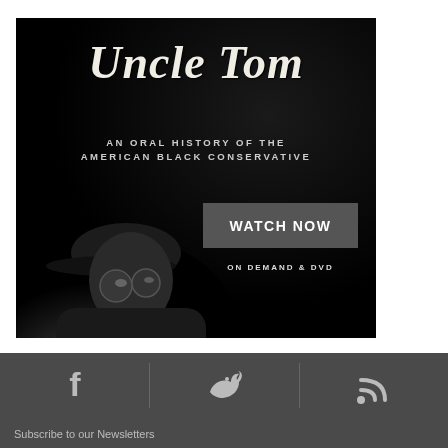[Figure (illustration): Movie/documentary advertisement for 'Uncle Tom: An Oral History of the American Black Conservative' featuring a black and white image of a person wearing a cap and sunglasses, with a 'WATCH NOW' button and 'ON DEMAND & DVD' text on a dark background]
Subscribe to our Newsletters